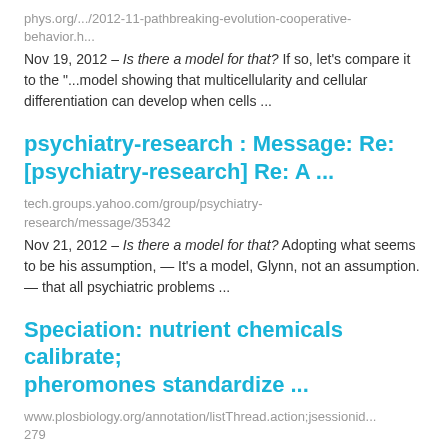phys.org/.../2012-11-pathbreaking-evolution-cooperative-behavior.h...
Nov 19, 2012 – Is there a model for that? If so, let's compare it to the "...model showing that multicellularity and cellular differentiation can develop when cells ...
psychiatry-research : Message: Re: [psychiatry-research] Re: A ...
tech.groups.yahoo.com/group/psychiatry-research/message/35342
Nov 21, 2012 – Is there a model for that? Adopting what seems to be his assumption, — It's a model, Glynn, not an assumption. — that all psychiatric problems ...
Speciation: nutrient chemicals calibrate; pheromones standardize ...
www.plosbiology.org/annotation/listThread.action;jsessionid... 279